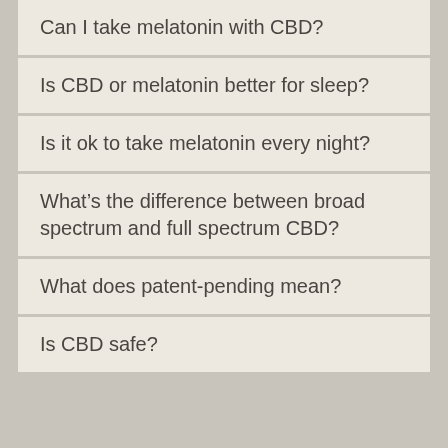Can I take melatonin with CBD?
Is CBD or melatonin better for sleep?
Is it ok to take melatonin every night?
What's the difference between broad spectrum and full spectrum CBD?
What does patent-pending mean?
Is CBD safe?